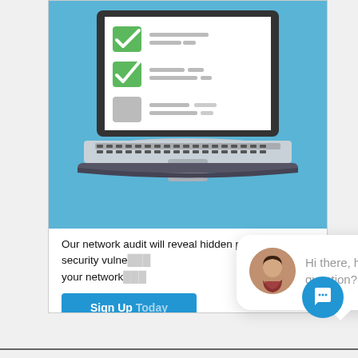[Figure (screenshot): Screenshot of a webpage showing a laptop illustration with a checklist on its screen (two green checkmarks and one unchecked box), a blue background, text reading 'Our network audit will reveal hidden problems, security vulne[rabilities, and...] your network[...]', a blue 'Sign Up Today' button, and an overlaid live chat popup bubble with a woman's avatar photo and text 'Hi there, have a question? Text us here.' with a 'close' link and a blue chat icon button.]
Our network audit will reveal hidden problems, security vulne... your network...
Sign Up Today
close
Hi there, have a question? Text us here.